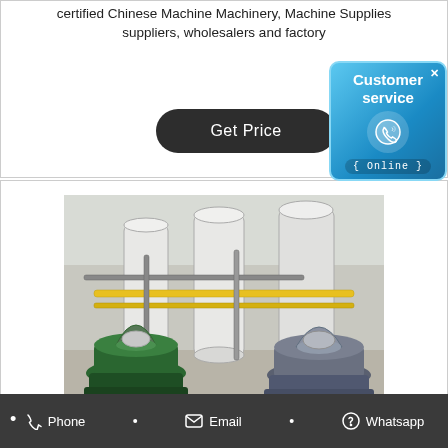certified Chinese Machine Machinery, Machine Supplies suppliers, wholesalers and factory
[Figure (screenshot): Blue Customer Service badge/widget with phone icon and 'Online' label]
[Figure (photo): Industrial machinery room with large green centrifuge separators, tanks, and piping]
Phone • Email • Whatsapp